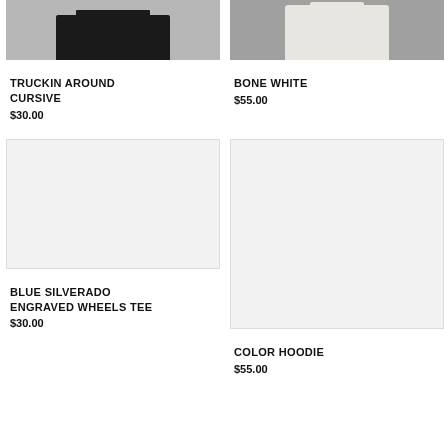[Figure (photo): Cropped top of product image showing dark/black clothing item on grey background]
TRUCKIN AROUND CURSIVE
$30.00
[Figure (photo): Cropped top of product image showing white/cream hoodie on grey background]
BONE WHITE
$55.00
[Figure (photo): Light grey placeholder product image for Blue Silverado Engraved Wheels Tee]
BLUE SILVERADO ENGRAVED WHEELS TEE
$30.00
[Figure (photo): Light grey placeholder/product image for Color Hoodie]
COLOR HOODIE
$55.00